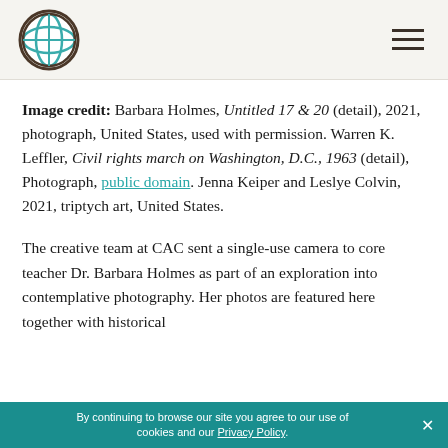CAC logo and navigation hamburger menu
Image credit: Barbara Holmes, Untitled 17 & 20 (detail), 2021, photograph, United States, used with permission. Warren K. Leffler, Civil rights march on Washington, D.C., 1963 (detail), Photograph, public domain. Jenna Keiper and Leslye Colvin, 2021, triptych art, United States.
The creative team at CAC sent a single-use camera to core teacher Dr. Barbara Holmes as part of an exploration into contemplative photography. Her photos are featured here together with historical
By continuing to browse our site you agree to our use of cookies and our Privacy Policy.